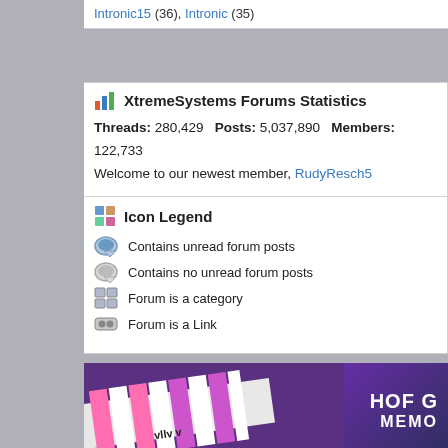Intronic15 (36), Intronic (35)
XtremeSystems Forums Statistics
Threads: 280,429  Posts: 5,037,890  Members: 122,733
Welcome to our newest member, RudyResch5
Icon Legend
Contains unread forum posts
Contains no unread forum posts
Forum is a category
Forum is a Link
[Figure (photo): HOF G Memory advertisement banner with pink/white striped RAM and purple background]
-- vB4 Default Style
Contact
All times are GMT -8. The time now is 07:1
XtremeSystems